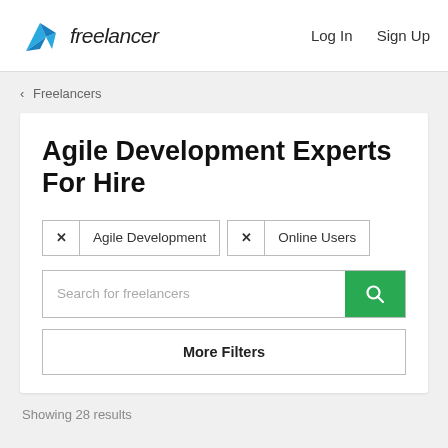[Figure (logo): Freelancer logo with blue geometric bird/arrow icon and 'freelancer' text]
Log In   Sign Up
‹ Freelancers
Agile Development Experts For Hire
× Agile Development   × Online Users
Search for freelancers
More Filters
Showing 28 results